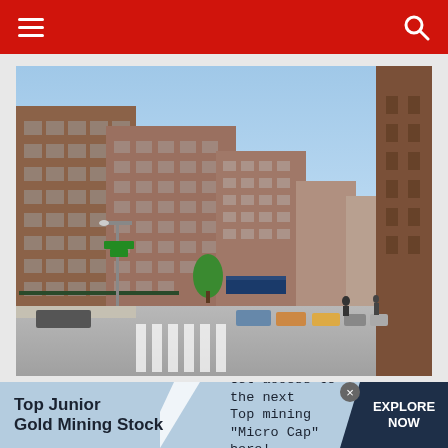Navigation bar with hamburger menu and search icon
[Figure (photo): Street-level photograph of multi-story brick apartment buildings in an urban neighborhood, with parked cars along the street, a green tree, and a clear blue sky. A brownstone building is visible on the right side.]
Top Junior Gold Mining Stock — Get access to the next Top mining "Micro Cap" here! — EXPLORE NOW